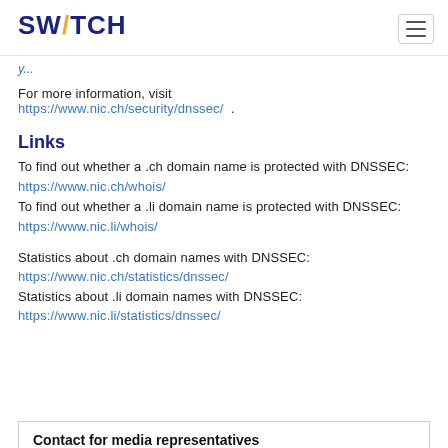SWITCH
For more information, visit https://www.nic.ch/security/dnssec/ .
Links
To find out whether a .ch domain name is protected with DNSSEC: https://www.nic.ch/whois/
To find out whether a .li domain name is protected with DNSSEC: https://www.nic.li/whois/
Statistics about .ch domain names with DNSSEC:
https://www.nic.ch/statistics/dnssec/
Statistics about .li domain names with DNSSEC:
https://www.nic.li/statistics/dnssec/
Contact for media representatives